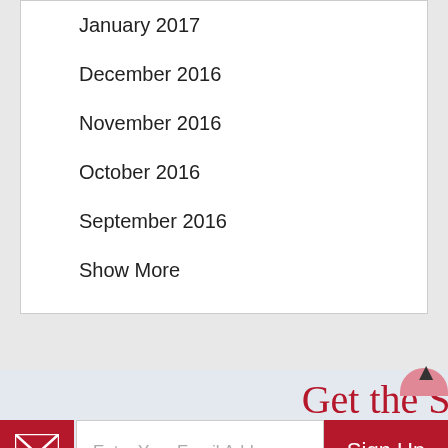January 2017
December 2016
November 2016
October 2016
September 2016
Show More
Get the Scoop on Giveaways and Events
Enter Your Email Address
Sign Up
[Figure (screenshot): Advertisement: Search for Travel Deals for Seniors, Yahoo! Search Sponsored]
Search for
1. | TRAVEL DEALS FOR SENIORS →
Yahoo! Search | Sponsored